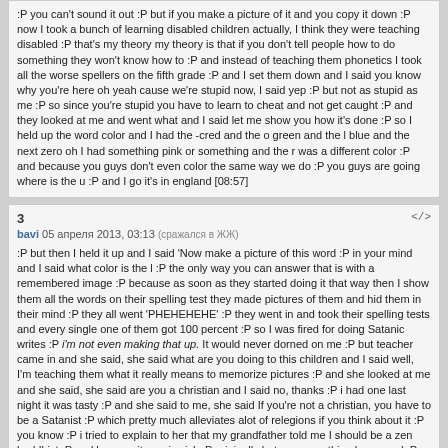:P you can't sound it out :P but if you make a picture of it and you copy it down :P now I took a bunch of learning disabled children actually, I think they were teaching disabled :P that's my theory my theory is that if you don't tell people how to do something they won't know how to :P and instead of teaching them phonetics I took all the worse spellers on the fifth grade :P and I set them down and I said you know why you're here oh yeah cause we're stupid now, I said yep :P but not as stupid as me :P so since you're stupid you have to learn to cheat and not get caught :P and they looked at me and went what and I said let me show you how it's done :P so I held up the word color and I had the -cred and the o green and the l blue and the next zero oh I had something pink or something and the r was a different color :P and because you guys don't even color the same way we do :P you guys are going where is the u :P and I go it's in england [08:57]
3
bavi 05 апреля 2013, 03:13 (сражался в ЖЖ)
:P but then I held it up and I said 'Now make a picture of this word :P in your mind and I said what color is the l :P the only way you can answer that is with a remembered image :P because as soon as they started doing it that way then I show them all the words on their spelling test they made pictures of them and hid them in their mind :P they all went 'PHEHEHEHE' :P they went in and took their spelling tests and every single one of them got 100 percent :P so I was fired for doing Satanic writes :P i'm not even making that up. It would never dorned on me :P but teacher came in and she said, she said what are you doing to this children and I said well, I'm teaching them what it really means to memorize pictures :P and she looked at me and she said, she said are you a christian and I said no, thanks :P i had one last night it was tasty :P and she said to me, she said If you're not a christian, you have to be a Satanist :P which pretty much alleviates alot of relegions if you think about it :P you know :P i tried to explain to her that my grandfather told me I should be a zen buddhist :P and he was, it was jewish :P originally but zen something happened :P and :P and I said, you know zen sometimes you have problems, and zen sometimes you don't :P and what happened was is for me once I got this then I went back to my room at the saway[?] hotel :P broke out all kind of paints and stuff :P that's why I'm not allowed to stay at the saway hotel anymore :P and I began to do the same thing he told me about :P and what happened is in an instant I putting a new idea inside my mind :P now let me ask you, how many of you absolutely